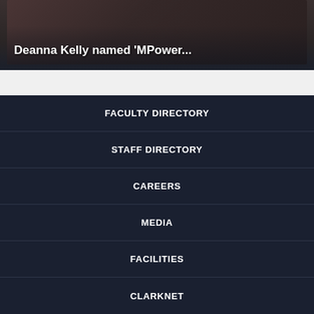[Figure (photo): Partial photo of a person (Deanna Kelly) with dark background and overlay text]
Deanna Kelly named 'MPower...
FACULTY DIRECTORY
STAFF DIRECTORY
CAREERS
MEDIA
FACILITIES
CLARKNET